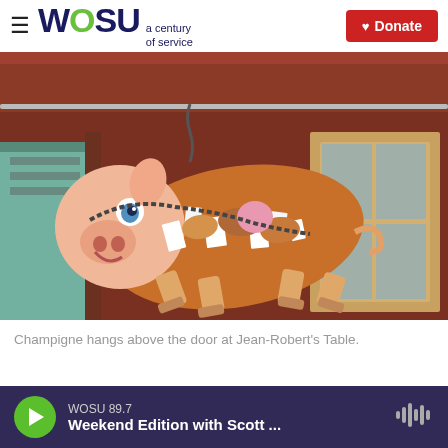WOSU a century of service | Donate
[Figure (photo): A decorative pig sculpture named Champigne hanging upside down from the ceiling above a doorway at Jean-Robert's Table restaurant. The pig has a pink face with blue eyes and a smile, and its body is covered with various paper notes and colorful decorations. The background shows a red wooden structure and windows.]
Champigne hangs above the door at Jean-Robert's Table.
WOSU 89.7 — Weekend Edition with Scott ...